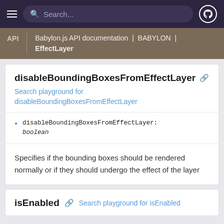Search...
API | Babylon.js API documentation | BABYLON | EffectLayer
disableBoundingBoxesFromEffectLayer
Search playground for disableBoundingBoxesFromEffectLayer
disableBoundingBoxesFromEffectLayer: boolean
Specifies if the bounding boxes should be rendered normally or if they should undergo the effect of the layer
isEnabled
Search playground for isEnabled